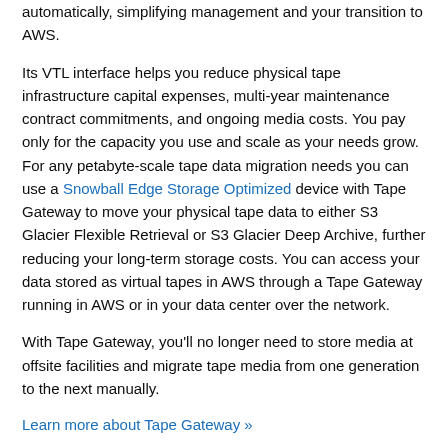automatically, simplifying management and your transition to AWS.
Its VTL interface helps you reduce physical tape infrastructure capital expenses, multi-year maintenance contract commitments, and ongoing media costs. You pay only for the capacity you use and scale as your needs grow. For any petabyte-scale tape data migration needs you can use a Snowball Edge Storage Optimized device with Tape Gateway to move your physical tape data to either S3 Glacier Flexible Retrieval or S3 Glacier Deep Archive, further reducing your long-term storage costs. You can access your data stored as virtual tapes in AWS through a Tape Gateway running in AWS or in your data center over the network.
With Tape Gateway, you'll no longer need to store media at offsite facilities and migrate tape media from one generation to the next manually.
Learn more about Tape Gateway »
Volume Gateway